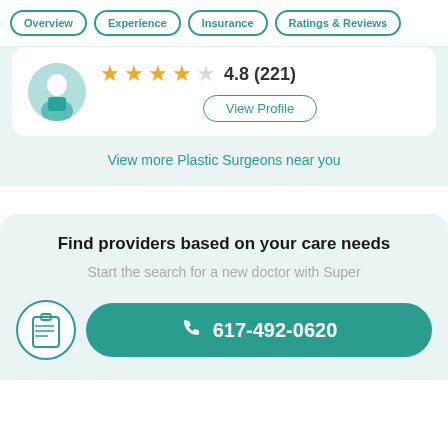Overview | Experience | Insurance | Ratings & Reviews
[Figure (photo): Doctor avatar photo in circular frame]
4.8 (221) — 4.5 out of 5 stars rating
View Profile
View more Plastic Surgeons near you
Find providers based on your care needs
Start the search for a new doctor with Super
617-492-0620